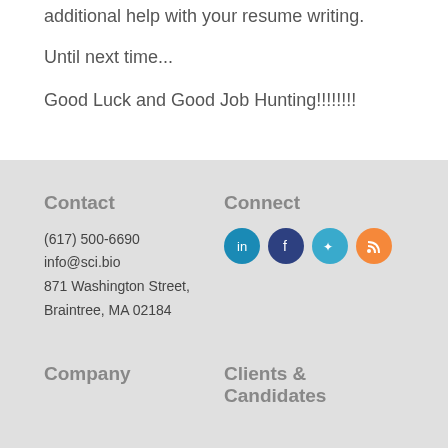additional help with your resume writing.
Until next time...
Good Luck and Good Job Hunting!!!!!!!
Contact
(617) 500-6690
info@sci.bio
871 Washington Street,
Braintree, MA 02184
Connect
[Figure (infographic): Four social media icons: LinkedIn (blue), Facebook (dark blue), Twitter (cyan), RSS (orange)]
Company
Clients & Candidates